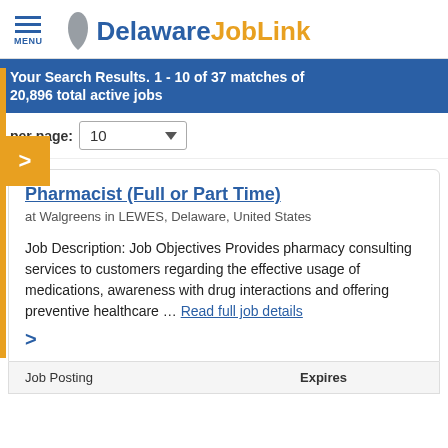Delaware JobLink
Your Search Results: 1 - 10 of 37 matches of 20,896 total active jobs
Per page: 10
Pharmacist (Full or Part Time)
at Walgreens in LEWES, Delaware, United States
Job Description: Job Objectives Provides pharmacy consulting services to customers regarding the effective usage of medications, awareness with drug interactions and offering preventive healthcare ... Read full job details
Job Posting
Expires